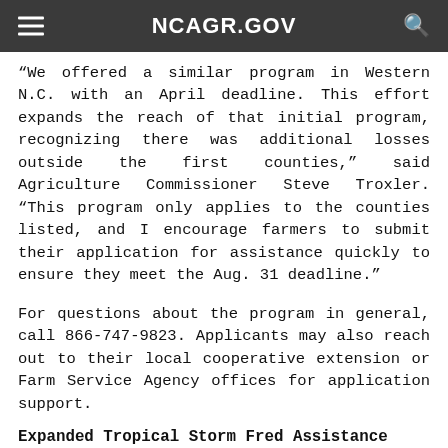NCAGR.GOV
“We offered a similar program in Western N.C. with an April deadline. This effort expands the reach of that initial program, recognizing there was additional losses outside the first counties,” said Agriculture Commissioner Steve Troxler. “This program only applies to the counties listed, and I encourage farmers to submit their application for assistance quickly to ensure they meet the Aug. 31 deadline.”
For questions about the program in general, call 866-747-9823. Applicants may also reach out to their local cooperative extension or Farm Service Agency offices for application support.
Expanded Tropical Storm Fred Assistance